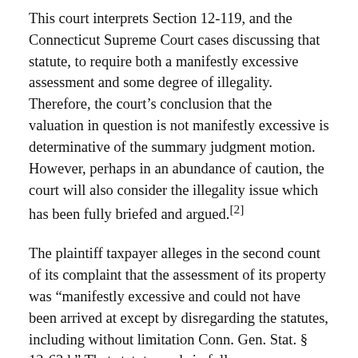This court interprets Section 12-119, and the Connecticut Supreme Court cases discussing that statute, to require both a manifestly excessive assessment and some degree of illegality. Therefore, the court's conclusion that the valuation in question is not manifestly excessive is determinative of the summary judgment motion. However, perhaps in an abundance of caution, the court will also consider the illegality issue which has been fully briefed and argued.[2]
The plaintiff taxpayer alleges in the second count of its complaint that the assessment of its property was "manifestly excessive and could not have been arrived at except by disregarding the statutes, including without limitation Conn. Gen. Stat. § 12-63d." That statute reads in full: